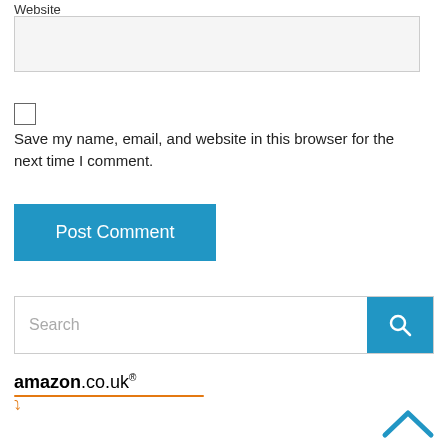Website
[Figure (screenshot): Website text input field (empty, light gray background)]
[Figure (screenshot): Checkbox (unchecked)]
Save my name, email, and website in this browser for the next time I comment.
[Figure (screenshot): Post Comment button (blue)]
[Figure (screenshot): Search bar with blue search button]
[Figure (logo): Amazon.co.uk logo with orange underline and smile]
[Figure (screenshot): Back to top chevron arrow (blue, bottom right)]